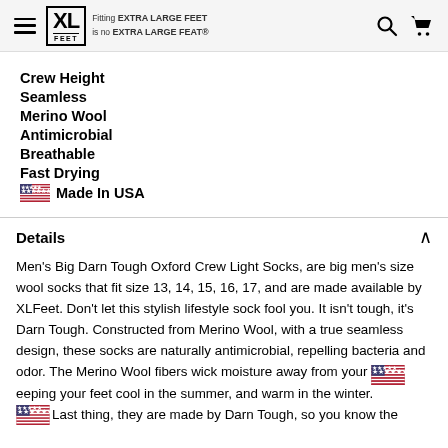XL Feet — Fitting EXTRA LARGE FEET is no EXTRA LARGE FEAT®
Crew Height
Seamless
Merino Wool
Antimicrobial
Breathable
Fast Drying
🇺🇸 Made In USA
Details
Men's Big Darn Tough Oxford Crew Light Socks, are big men's size wool socks that fit size 13, 14, 15, 16, 17, and are made available by XLFeet. Don't let this stylish lifestyle sock fool you. It isn't tough, it's Darn Tough. Constructed from Merino Wool, with a true seamless design, these socks are naturally antimicrobial, repelling bacteria and odor. The Merino Wool fibers wick moisture away from your feet keeping your feet cool in the summer, and warm in the winter. Best thing, they are made by Darn Tough, so you know they